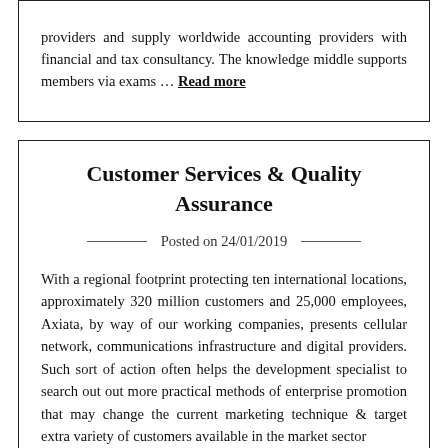providers and supply worldwide accounting providers with financial and tax consultancy. The knowledge middle supports members via exams ... Read more
Customer Services & Quality Assurance
Posted on 24/01/2019
With a regional footprint protecting ten international locations, approximately 320 million customers and 25,000 employees, Axiata, by way of our working companies, presents cellular network, communications infrastructure and digital providers. Such sort of action often helps the development specialist to search out out more practical methods of enterprise promotion that may change the current marketing technique & target extra variety of customers available in the market sector